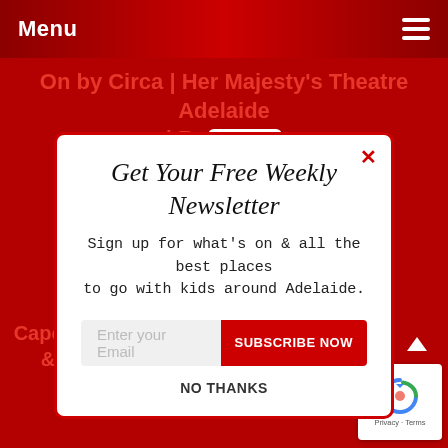Menu
On by Circa | Her Majesty's Theatre Adelaide | Re SUMO
[Figure (screenshot): Newsletter signup modal popup with red border. Title: 'Get Your Free Weekly Newsletter'. Body text: 'Sign up for what's on & all the best places to go with kids around Adelaide.' Email input field with 'Enter your Email' placeholder, red 'SUBSCRIBE NOW' button, and 'NO THANKS' link. Red X close button in top right.]
Capella Drive Reserve Playground & Skate Park – Hallett Cove | Review
[Figure (logo): Google reCAPTCHA badge with recycling arrow icon and 'Privacy · Terms' text]